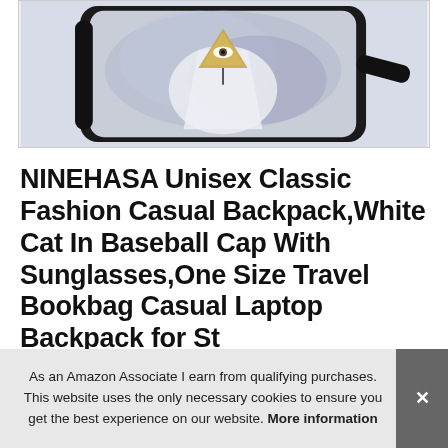[Figure (photo): Product image of a backpack with a watercolor illustration featuring a triangular eye symbol (all-seeing eye) on a light blue/lavender background, with black straps visible]
NINEHASA Unisex Classic Fashion Casual Backpack,White Cat In Baseball Cap With Sunglasses,One Size Travel Bookbag Casual Laptop Backpack for Students
#ad
As an Amazon Associate I earn from qualifying purchases. This website uses the only necessary cookies to ensure you get the best experience on our website. More information